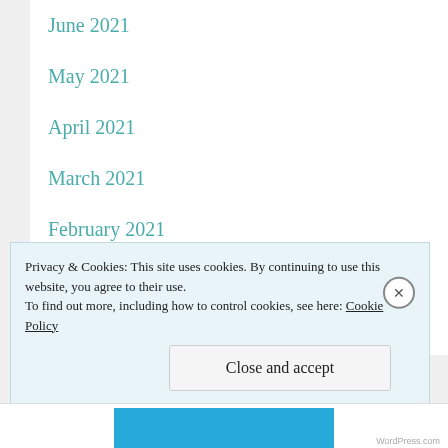June 2021
May 2021
April 2021
March 2021
February 2021
January 2021
November 2020
Privacy & Cookies: This site uses cookies. By continuing to use this website, you agree to their use.
To find out more, including how to control cookies, see here: Cookie Policy
Close and accept